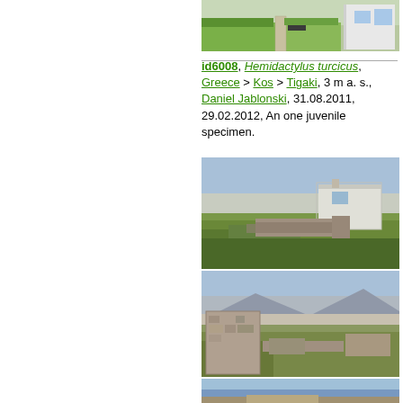[Figure (photo): Outdoor photo showing a garden/courtyard with grass, walkway and white building]
id6008, Hemidactylus turcicus, Greece > Kos > Tigaki, 3 m a. s., Daniel Jablonski, 31.08.2011, 29.02.2012, An one juvenile specimen.
[Figure (photo): Landscape photo showing a ruined stone structure with green vegetation and a white building in the background under blue sky]
[Figure (photo): Landscape photo showing ruined stone walls with mountains and town in the background]
[Figure (photo): Partial photo of coastal/sea view with rocky shoreline]